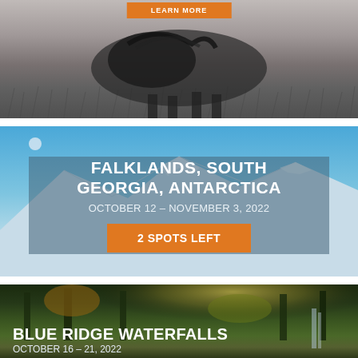[Figure (photo): Grayscale photo of a horse running through grassland, with an orange button partially visible at top]
[Figure (photo): Photo of snow-covered Antarctic mountain under blue sky with crescent moon, overlaid with a semi-transparent dark box containing tour details]
FALKLANDS, SOUTH GEORGIA, ANTARCTICA
OCTOBER 12 – NOVEMBER 3, 2022
2 SPOTS LEFT
[Figure (photo): Forest waterfall scene with autumn foliage and sunlight filtering through trees, overlaid with Blue Ridge Waterfalls tour text]